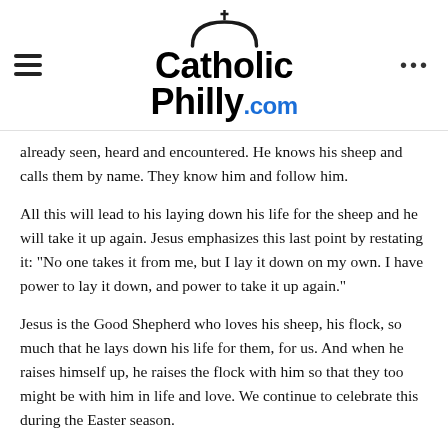CatholicPhilly.com
already seen, heard and encountered. He knows his sheep and calls them by name. They know him and follow him.
All this will lead to his laying down his life for the sheep and he will take it up again. Jesus emphasizes this last point by restating it: “No one takes it from me, but I lay it down on my own. I have power to lay it down, and power to take it up again.”
Jesus is the Good Shepherd who loves his sheep, his flock, so much that he lays down his life for them, for us. And when he raises himself up, he raises the flock with him so that they too might be with him in life and love. We continue to celebrate this during the Easter season.